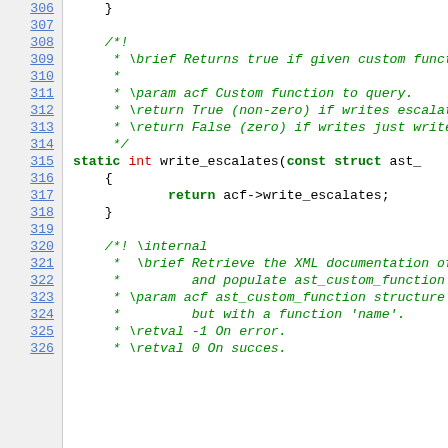Source code listing, lines 306-326, showing C code with comments and a write_escalates function